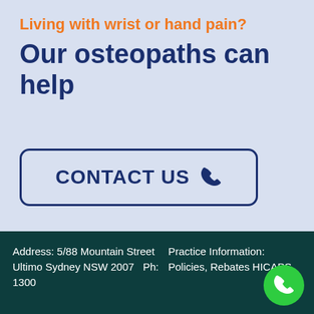Living with wrist or hand pain?
Our osteopaths can help
CONTACT US
Address: 5/88 Mountain Street Ultimo Sydney NSW 2007   Ph: 1300   Practice Information: Policies, Rebates HICAPS